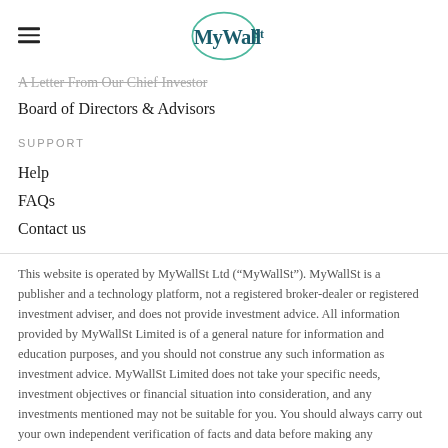MyWallSt
A Letter From Our Chief Investor
Board of Directors & Advisors
SUPPORT
Help
FAQs
Contact us
This website is operated by MyWallSt Ltd (“MyWallSt”). MyWallSt is a publisher and a technology platform, not a registered broker-dealer or registered investment adviser, and does not provide investment advice. All information provided by MyWallSt Limited is of a general nature for information and education purposes, and you should not construe any such information as investment advice. MyWallSt Limited does not take your specific needs, investment objectives or financial situation into consideration, and any investments mentioned may not be suitable for you. You should always carry out your own independent verification of facts and data before making any investment decisions, as we cannot guarantee the